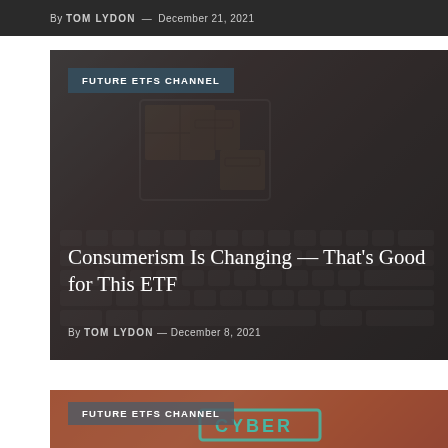By TOM LYDON — December 21, 2021
[Figure (photo): Shopping cart with fragile boxes on a laptop keyboard background]
FUTURE ETFS CHANNEL
Consumerism Is Changing — That's Good for This ETF
By TOM LYDON — December 8, 2021
[Figure (photo): Partial bottom card with FUTURE ETFS CHANNEL badge and red/orange background, CYBER text visible]
FUTURE ETFS CHANNEL